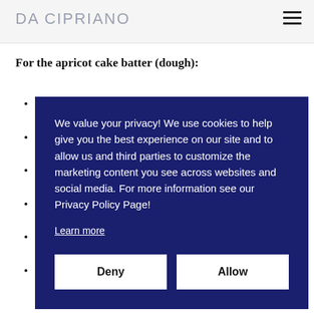DA CIPRIANO
For the apricot cake batter (dough):
We value your privacy! We use cookies to help give you the best experience on our site and to allow us and third parties to customize the marketing content you see across websites and social media. For more information see our Privacy Policy Page!
Learn more
Deny | Allow